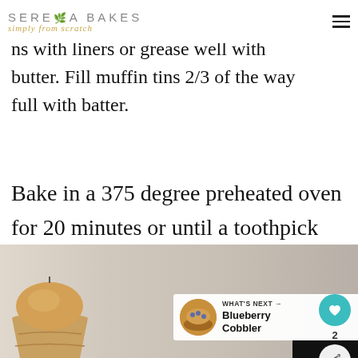SERENA BAKES simply from scratch
ns with liners or grease well with butter. Fill muffin tins 2/3 of the way full with batter.
Bake in a 375 degree preheated oven for 20 minutes or until a toothpick inserted into the center to muffin comes out clean.
[Figure (photo): Muffin photo at bottom of page with a 'What's Next' overlay showing Blueberry Cobbler]